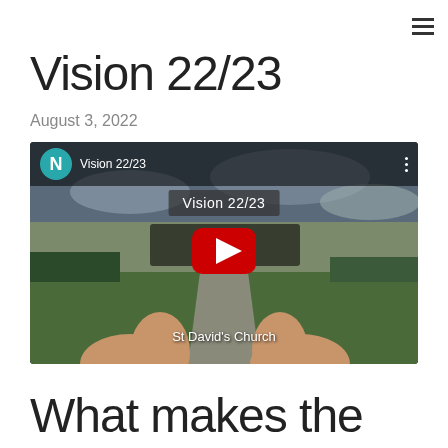≡
Vision 22/23
August 3, 2022
[Figure (screenshot): YouTube video embed showing 'Vision 22/23' with a teal N avatar icon, a landscape countryside scene with hands reaching forward, a St David's Church watermark sign reading NURTURE, and a red YouTube play button in the center. Title overlay reads 'Vision 22/23'.]
What makes the